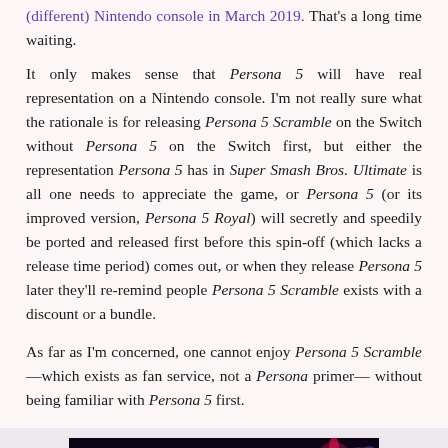(different) Nintendo console in March 2019. That's a long time waiting.
It only makes sense that Persona 5 will have real representation on a Nintendo console. I'm not really sure what the rationale is for releasing Persona 5 Scramble on the Switch without Persona 5 on the Switch first, but either the representation Persona 5 has in Super Smash Bros. Ultimate is all one needs to appreciate the game, or Persona 5 (or its improved version, Persona 5 Royal) will secretly and speedily be ported and released first before this spin-off (which lacks a release time period) comes out, or when they release Persona 5 later they'll re-remind people Persona 5 Scramble exists with a discount or a bundle.
As far as I'm concerned, one cannot enjoy Persona 5 Scramble—which exists as fan service, not a Persona primer— without being familiar with Persona 5 first.
[Figure (photo): Screenshot from Persona 5 Scramble video game showing characters in a nighttime urban street scene with glowing lights and colorful characters/monsters.]